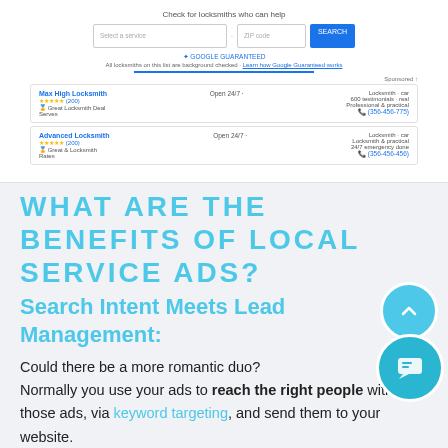[Figure (screenshot): Google Local Service Ads screenshot showing a search interface for locksmiths with search bar, Google Guarantee badge, and two locksmith business listings with ratings and phone numbers.]
WHAT ARE THE BENEFITS OF LOCAL SERVICE ADS?
Search Intent Meets Lead Management:
Could there be a more romantic duo? Normally you use your ads to reach the right people with those ads, via keyword targeting, and send them to your website. When a potential customer reaches your